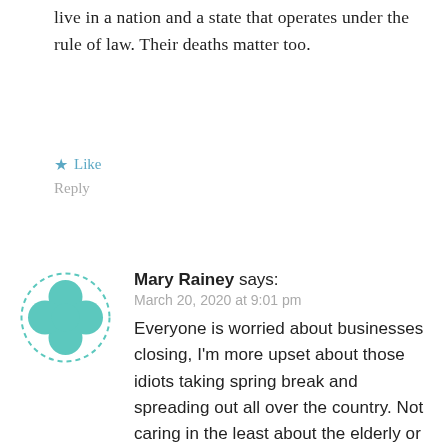live in a nation and a state that operates under the rule of law. Their deaths matter too.
★ Like
Reply
[Figure (illustration): Teal/turquoise four-leaf clover or flower avatar icon with dashed border circle]
Mary Rainey says:
March 20, 2020 at 9:01 pm
Everyone is worried about businesses closing, I'm more upset about those idiots taking spring break and spreading out all over the country. Not caring in the least about the elderly or children they may infect.
★ Like
Reply